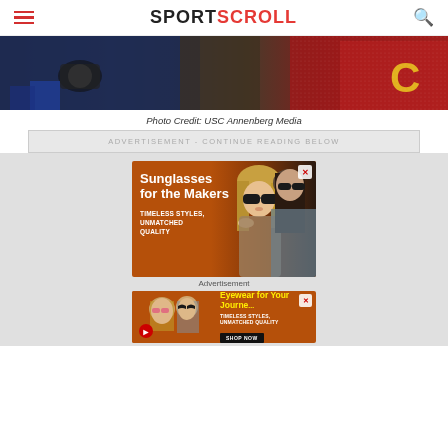SPORTSCROLL
[Figure (photo): Partial photo of photographers and USC player in red/gold jersey at a sports event]
Photo Credit: USC Annenberg Media
ADVERTISEMENT - CONTINUE READING BELOW
[Figure (photo): Advertisement for sunglasses: 'Sunglasses for the Makers — Timeless Styles, Unmatched Quality' with two female models wearing sunglasses on an orange-brown background]
Advertisement
[Figure (photo): Second advertisement for eyewear: 'Eyewear for Your Journey — Timeless Styles, Unmatched Quality — Shop Now' with female models wearing sunglasses on orange background]